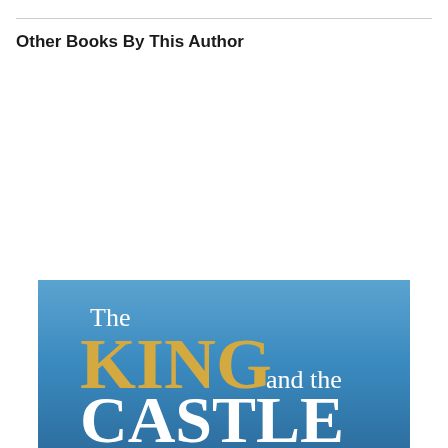Other Books By This Author
[Figure (illustration): Book cover for 'The King and the Castle' with blue gradient background. The word 'The' appears in white serif text, 'KING' in large gold/yellow serif text, 'and the' in white serif text, and 'CASTLE' in large white serif text.]